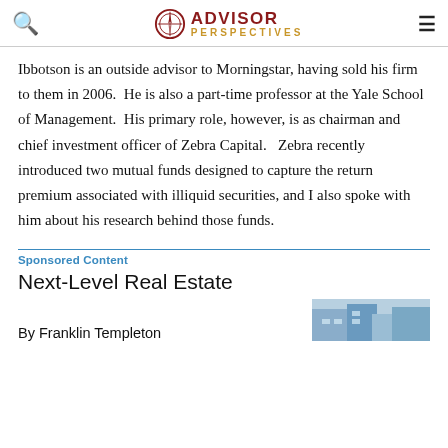ADVISOR PERSPECTIVES
Ibbotson is an outside advisor to Morningstar, having sold his firm to them in 2006.  He is also a part-time professor at the Yale School of Management.  His primary role, however, is as chairman and chief investment officer of Zebra Capital.   Zebra recently introduced two mutual funds designed to capture the return premium associated with illiquid securities, and I also spoke with him about his research behind those funds.
Sponsored Content
Next-Level Real Estate
By Franklin Templeton